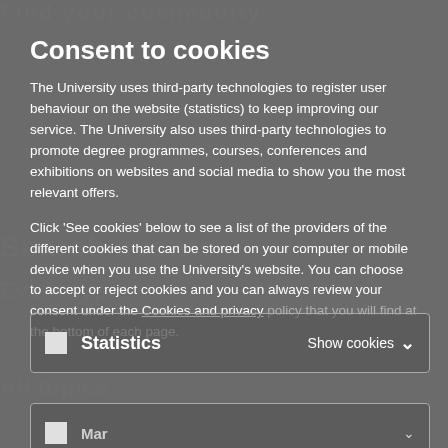Consent to cookies
The University uses third-party technologies to register user behaviour on the website (statistics) to keep improving our service. The University also uses third-party technologies to promote degree programmes, courses, conferences and exhibitions on websites and social media to show you the most relevant offers.
Click 'See cookies' below to see a list of the providers of the different cookies that can be stored on your computer or mobile device when you use the University's website. You can choose to accept or reject cookies and you can always review your consent under the Cookies and privacy policy that you will find at the bottom of each page.
Statistics  Show cookies
Marketing  Show cookies